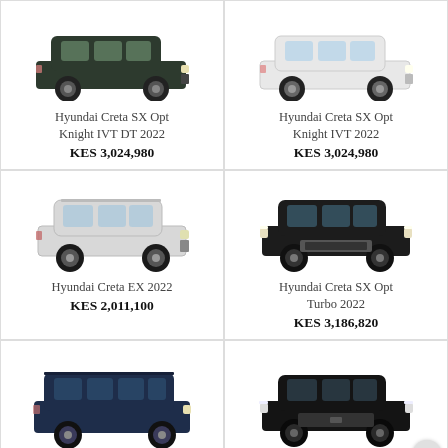[Figure (photo): Hyundai Creta SX Opt Knight IVT DT 2022 - dark green/black SUV side view]
Hyundai Creta SX Opt Knight IVT DT 2022
KES 3,024,980
[Figure (photo): Hyundai Creta SX Opt Knight IVT 2022 - white SUV side view]
Hyundai Creta SX Opt Knight IVT 2022
KES 3,024,980
[Figure (photo): Hyundai Creta EX 2022 - silver/white SUV front-side view]
Hyundai Creta EX 2022
KES 2,011,100
[Figure (photo): Hyundai Creta SX Opt Turbo 2022 - black SUV front view]
Hyundai Creta SX Opt Turbo 2022
KES 3,186,820
[Figure (photo): Hyundai Alcazar Platinum 7 - blue/dark SUV side view]
Hyundai Alcazar Platinum 7
[Figure (photo): Hyundai Creta SX IVT - black SUV front-side view]
Hyundai Creta SX IVT